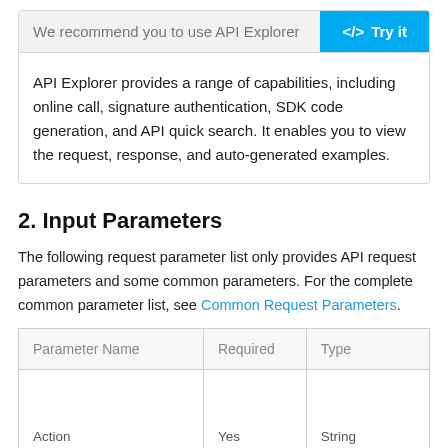We recommend you to use API Explorer
API Explorer provides a range of capabilities, including online call, signature authentication, SDK code generation, and API quick search. It enables you to view the request, response, and auto-generated examples.
2. Input Parameters
The following request parameter list only provides API request parameters and some common parameters. For the complete common parameter list, see Common Request Parameters.
| Parameter Name | Required | Type |
| --- | --- | --- |
| Action | Yes | String |